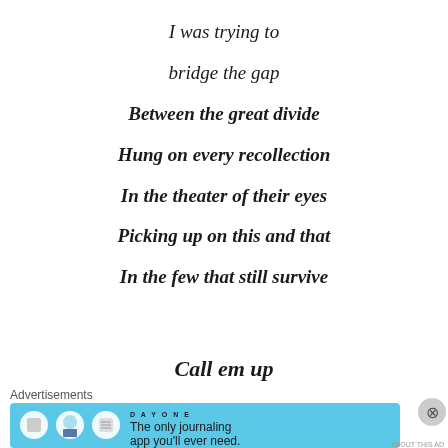I was trying to
bridge the gap
Between the great divide
Hung on every recollection
In the theater of their eyes
Picking up on this and that
In the few that still survive
Call em up
Advertisements
[Figure (screenshot): Day One journaling app advertisement banner with blue background and text: The only journaling app you'll ever need.]